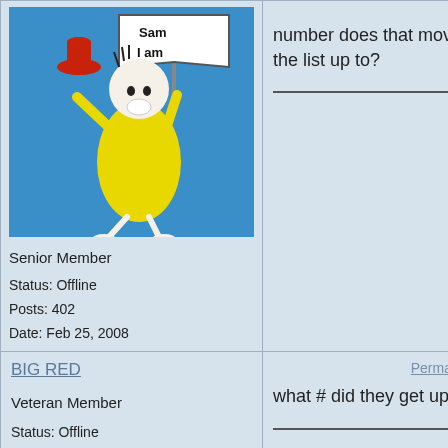[Figure (illustration): Sam-I-Am character from Dr. Seuss holding a sign that says 'Sam I am', wearing yellow outfit, red hat flying off, blue background]
Senior Member
Status: Offline
Posts: 402
Date: Feb 25, 2008
number does that move the list up to?
BIG RED
Veteran Member
Status: Offline
Posts: 28
Date: Feb 25, 2008
Permalink
what # did they get up to
NYPD74
Permalink